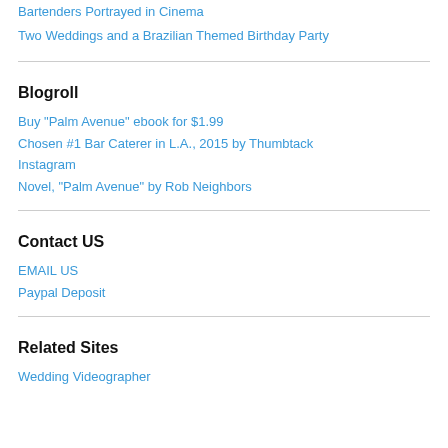Bartenders Portrayed in Cinema
Two Weddings and a Brazilian Themed Birthday Party
Blogroll
Buy "Palm Avenue" ebook for $1.99
Chosen #1 Bar Caterer in L.A., 2015 by Thumbtack
Instagram
Novel, "Palm Avenue" by Rob Neighbors
Contact US
EMAIL US
Paypal Deposit
Related Sites
Wedding Videographer